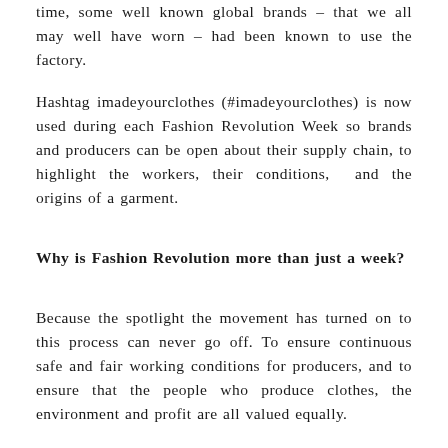time, some well known global brands – that we all may well have worn – had been known to use the factory.
Hashtag imadeyourclothes (#imadeyourclothes) is now used during each Fashion Revolution Week so brands and producers can be open about their supply chain, to highlight the workers, their conditions,  and the origins of a garment.
Why is Fashion Revolution more than just a week?
Because the spotlight the movement has turned on to this process can never go off. To ensure continuous safe and fair working conditions for producers, and to ensure that the people who produce clothes, the environment and profit are all valued equally.